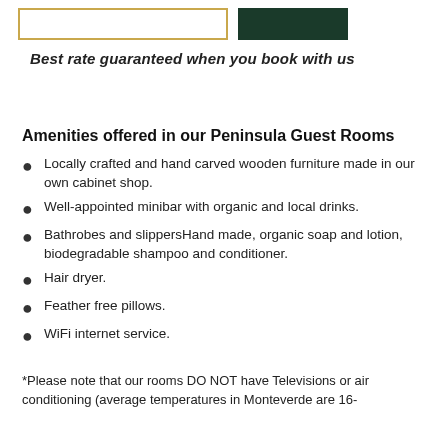Best rate guaranteed when you book with us
Amenities offered in our Peninsula Guest Rooms
Locally crafted and hand carved wooden furniture made in our own cabinet shop.
Well-appointed minibar with organic and local drinks.
Bathrobes and slippersHand made, organic soap and lotion, biodegradable shampoo and conditioner.
Hair dryer.
Feather free pillows.
WiFi internet service.
*Please note that our rooms DO NOT have Televisions or air conditioning (average temperatures in Monteverde are 16-